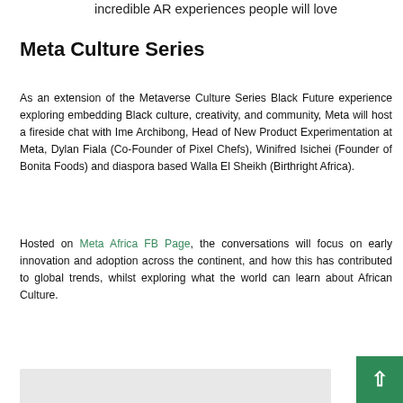incredible AR experiences people will love
Meta Culture Series
As an extension of the Metaverse Culture Series Black Future experience exploring embedding Black culture, creativity, and community, Meta will host a fireside chat with Ime Archibong, Head of New Product Experimentation at Meta, Dylan Fiala (Co-Founder of Pixel Chefs), Winifred Isichei (Founder of Bonita Foods) and diaspora based Walla El Sheikh (Birthright Africa).
Hosted on Meta Africa FB Page, the conversations will focus on early innovation and adoption across the continent, and how this has contributed to global trends, whilst exploring what the world can learn about African Culture.